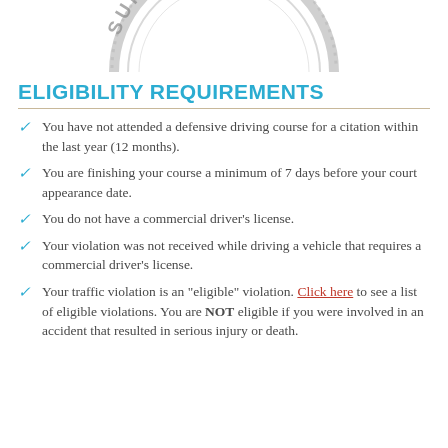[Figure (illustration): Partial view of a circular court seal stamp (Supreme Court), showing the bottom arc and text in gray/silver ink, cropped at top of page.]
ELIGIBILITY REQUIREMENTS
You have not attended a defensive driving course for a citation within the last year (12 months).
You are finishing your course a minimum of 7 days before your court appearance date.
You do not have a commercial driver's license.
Your violation was not received while driving a vehicle that requires a commercial driver's license.
Your traffic violation is an "eligible" violation. Click here to see a list of eligible violations. You are NOT eligible if you were involved in an accident that resulted in serious injury or death.